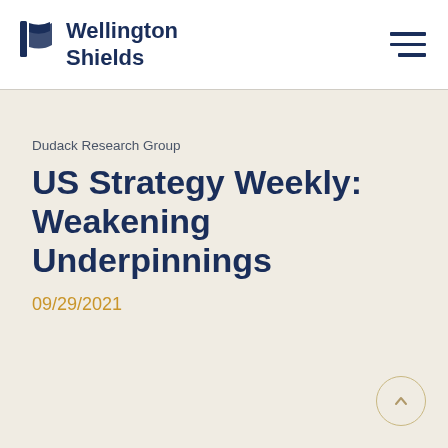Wellington Shields
Dudack Research Group
US Strategy Weekly: Weakening Underpinnings
09/29/2021